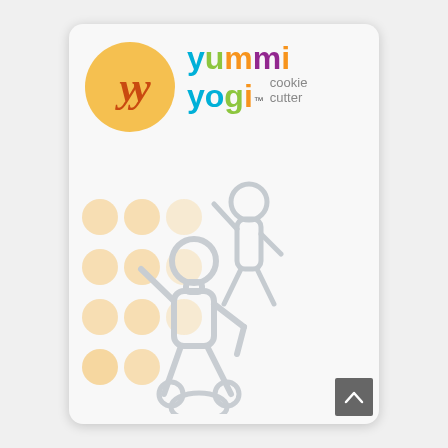[Figure (photo): Product packaging card for 'Yummi Yogi cookie cutter'. White rounded-corner card with a yellow circle logo containing stylized 'yy' letters in orange/red, colorful 'yummi yogi' brand name text in cyan, green, orange, and purple, subtitle 'cookie cutter' in gray, peach/tan polka dots on the left side, and metal cookie cutter shaped like a yoga figure in the lower portion.]